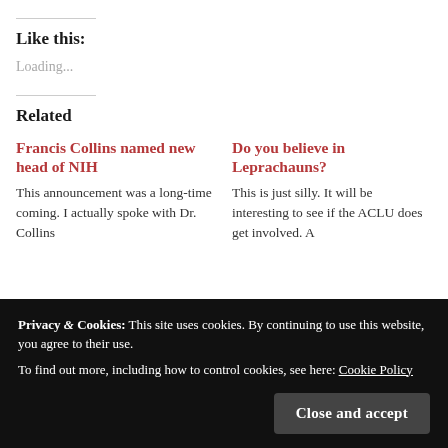Like this:
Loading...
Related
Francis Collins named new head of NIH
This announcement was a long-time coming. I actually spoke with Dr. Collins
Do you believe in Leprachauns?
This is just silly. It will be interesting to see if the ACLU does get involved. A
Privacy & Cookies: This site uses cookies. By continuing to use this website, you agree to their use.
To find out more, including how to control cookies, see here: Cookie Policy
Close and accept